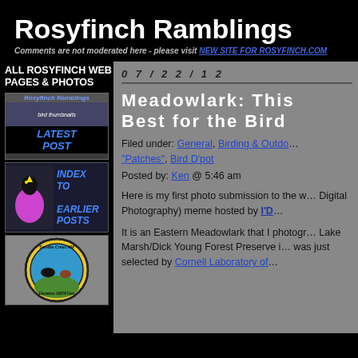Rosyfinch Ramblings
Comments are not moderated here - please visit NEW SITE FOR ROSYFINCH.COM
ALL ROSYFINCH WEB PAGES & PHOTOS
[Figure (screenshot): Latest Post thumbnail with bird images and blog header]
[Figure (illustration): Index to Earlier Posts with bird illustration]
[Figure (logo): Sandia Crest NM logo with birds, Elevation 10678 Feet]
0 7 / 2 2 / 1 2
Meadowlark: This Best for the Bird
Filed under: General, Birding & Outdoors, "Patches", Bird D'pot
Posted by: Ken @ 5:46 am
Here is my first photo submission to the w... Digital Photography) meme hosted by I'D...
It is an Eastern Meadowlark that I photogr... Lake Marsh/Dick Young Forest Preserve i... was just selected by Cornell Laboratory of...